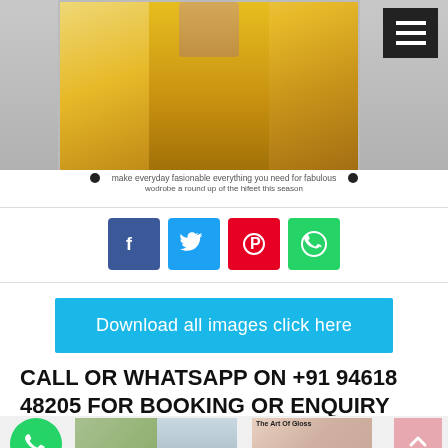[Figure (photo): Woman wearing a yellow kurti/kurta with gold embroidery, gold bangle, shopping bags visible in background. Hamburger menu icon in top right corner.]
make everyday fasionable everything you need for fabulous wodrobe a round up of the hifeet this season
[Figure (infographic): Social share buttons row: Facebook (blue), Twitter (light blue), Pinterest (red), WhatsApp (green)]
[Figure (infographic): Blue button reading: Download all images click here]
CALL OR WHATSAPP ON +91 94618 48205 FOR BOOKING OR ENQUIRY
[Figure (photo): Bottom thumbnail images and WhatsApp floating button, scroll-to-top button. Thumbnail shows 'The Art Of Gloss' text.]